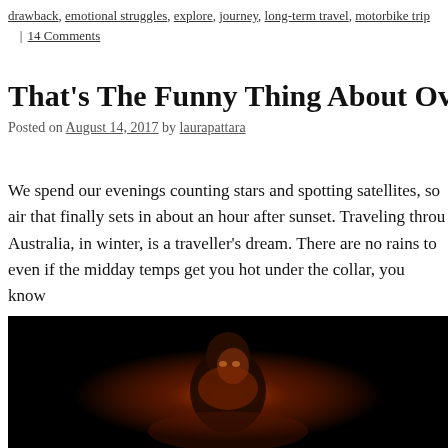drawback, emotional struggles, explore, journey, long-term travel, motorbike trip | 14 Comments
That's The Funny Thing About Overlandi…
Posted on August 14, 2017 by laurapattara
We spend our evenings counting stars and spotting satellites, so… air that finally sets in about an hour after sunset. Traveling throu… Australia, in winter, is a traveller's dream. There are no rains to… even if the midday temps get you hot under the collar, you know…
[Figure (photo): A person illuminated by warm orange/red firelight in a dark setting, photographed at night during what appears to be a campfire scene in Australia.]